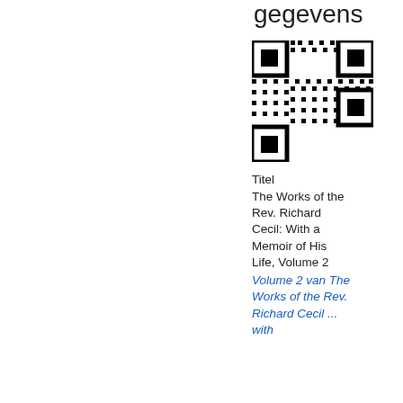gegevens
[Figure (other): QR code linking to book information]
Titel   The Works of the Rev. Richard Cecil: With a Memoir of His Life, Volume 2
Volume 2 van The Works of the Rev. Richard Cecil ... with